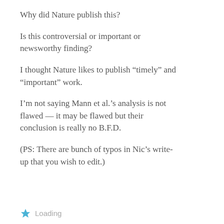Why did Nature publish this?
Is this controversial or important or newsworthy finding?
I thought Nature likes to publish “timely” and “important” work.
I’m not saying Mann et al.’s analysis is not flawed — it may be flawed but their conclusion is really no B.F.D.
(PS: There are bunch of typos in Nic’s write-up that you wish to edit.)